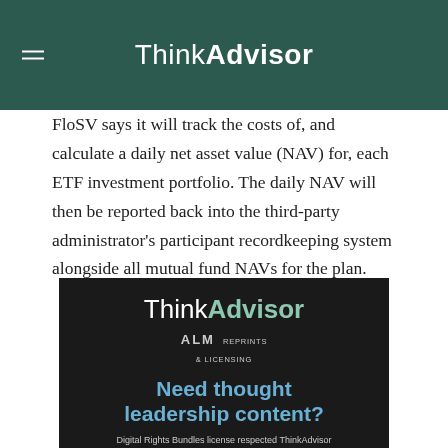ThinkAdvisor
FloSV says it will track the costs of, and calculate a daily net asset value (NAV) for, each ETF investment portfolio. The daily NAV will then be reported back into the third-party administrator's participant recordkeeping system alongside all mutual fund NAVs for the plan.
[Figure (infographic): ThinkAdvisor ALM Reprints & Licensing advertisement. Dark background with ThinkAdvisor logo, ALM Reprints & Licensing text, 'Need thought leadership content?' headline in blue, and 'Digital Rights Bundles license respected ThinkAdvisor content to build blogs, newsletters and websites' body text.]